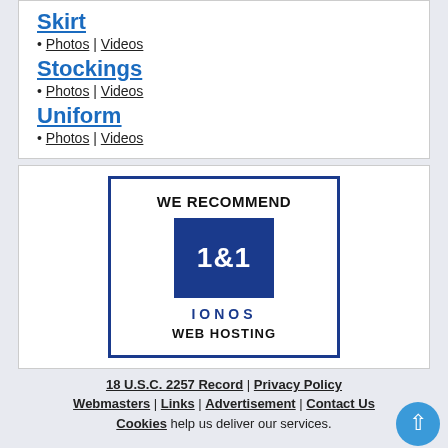Skirt • Photos | Videos
Stockings • Photos | Videos
Uniform • Photos | Videos
[Figure (logo): 1&1 IONOS Web Hosting recommendation advertisement with blue border, showing '1&1' logo in dark blue square and 'IONOS WEB HOSTING' text]
18 U.S.C. 2257 Record | Privacy Policy | Webmasters | Links | Advertisement | Contact Us | Cookies help us deliver our services.